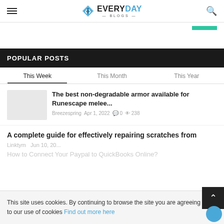EVERYDAY BLOGS
POPULAR POSTS
This Week | This Month | This Year
The best non-degradable armor available for Runescape melee...
Breezespring  Apr 1, 2022  0  238
A complete guide for effectively repairing scratches from
This site uses cookies. By continuing to browse the site you are agreeing to our use of cookies Find out more here
How to Connect Your Paypal to QuickBooks Online?